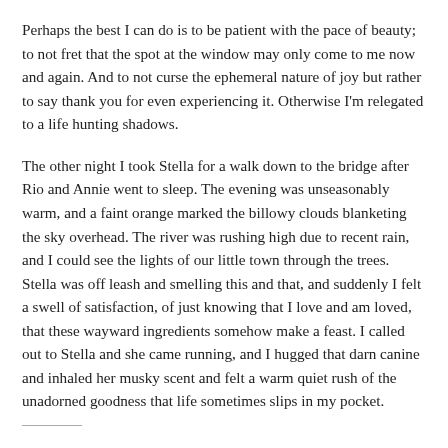Perhaps the best I can do is to be patient with the pace of beauty; to not fret that the spot at the window may only come to me now and again. And to not curse the ephemeral nature of joy but rather to say thank you for even experiencing it. Otherwise I'm relegated to a life hunting shadows.
The other night I took Stella for a walk down to the bridge after Rio and Annie went to sleep. The evening was unseasonably warm, and a faint orange marked the billowy clouds blanketing the sky overhead. The river was rushing high due to recent rain, and I could see the lights of our little town through the trees. Stella was off leash and smelling this and that, and suddenly I felt a swell of satisfaction, of just knowing that I love and am loved, that these wayward ingredients somehow make a feast. I called out to Stella and she came running, and I hugged that darn canine and inhaled her musky scent and felt a warm quiet rush of the unadorned goodness that life sometimes slips in my pocket.